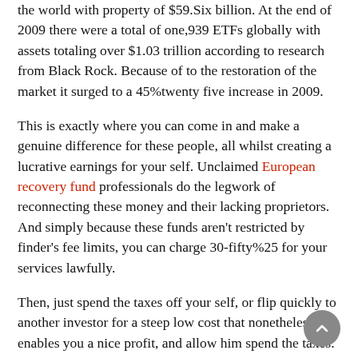the world with property of $59.Six billion. At the end of 2009 there were a total of one,939 ETFs globally with assets totaling over $1.03 trillion according to research from Black Rock. Because of to the restoration of the market it surged to a 45%twenty five increase in 2009.
This is exactly where you can come in and make a genuine difference for these people, all whilst creating a lucrative earnings for your self. Unclaimed European recovery fund professionals do the legwork of reconnecting these money and their lacking proprietors. And simply because these funds aren't restricted by finder's fee limits, you can charge 30-fifty%25 for your services lawfully.
Then, just spend the taxes off your self, or flip quickly to another investor for a steep low cost that nonetheless enables you a nice profit, and allow him spend the taxes.
In about half of the states in the U.S., that overage money goes straight into the county general money if the taxes